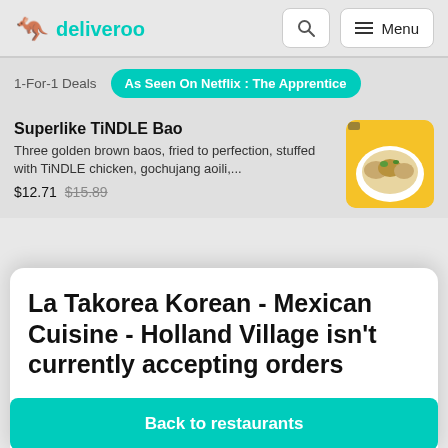deliveroo
1-For-1 Deals
As Seen On Netflix : The Apprentice
Superlike TiNDLE Bao
Three golden brown baos, fried to perfection, stuffed with TiNDLE chicken, gochujang aoili,...
$12.71  $15.89
[Figure (photo): Photo of TiNDLE Bao dish on yellow background]
La Takorea Korean - Mexican Cuisine - Holland Village isn't currently accepting orders
Back to restaurants
By continuing to browse this website you accept the use of cookies
View menu